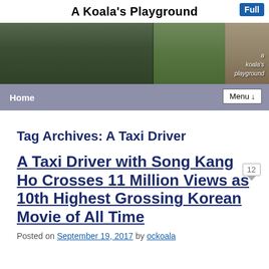A Koala's Playground
[Figure (photo): Banner photo showing people in a green outdoor scene]
Home | Menu
Tag Archives: A Taxi Driver
A Taxi Driver with Song Kang Ho Crosses 11 Million Views as 10th Highest Grossing Korean Movie of All Time
Posted on September 19, 2017 by ockoala